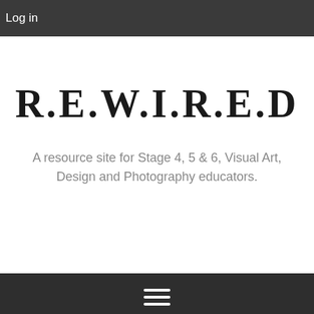Log in
R.E.W.I.R.E.D
A resource site for Stage 4, 5 & 6, Visual Art, Design and Photography educators.
[Figure (screenshot): Hamburger menu icon (three horizontal white lines on dark background navigation bar)]
[Figure (photo): Blurred background photo with plant silhouette visible at bottom right, light grey and white tones]